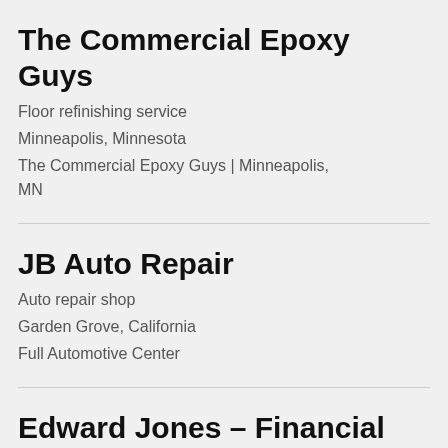The Commercial Epoxy Guys
Floor refinishing service
Minneapolis, Minnesota
The Commercial Epoxy Guys | Minneapolis, MN
JB Auto Repair
Auto repair shop
Garden Grove, California
Full Automotive Center
Edward Jones – Financial Advisor: Justin L Haymore